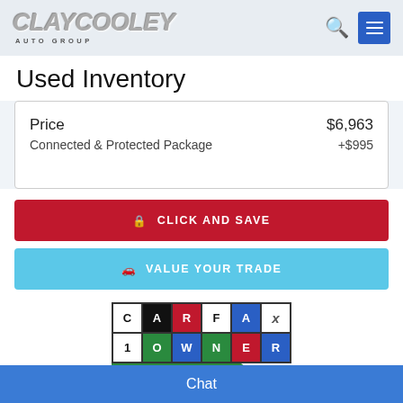Clay Cooley Auto Group
Used Inventory
| Item | Price |
| --- | --- |
| Price | $6,963 |
| Connected & Protected Package | +$995 |
CLICK AND SAVE
VALUE YOUR TRADE
[Figure (logo): CARFAX 1 Owner Great Value badge]
Chat